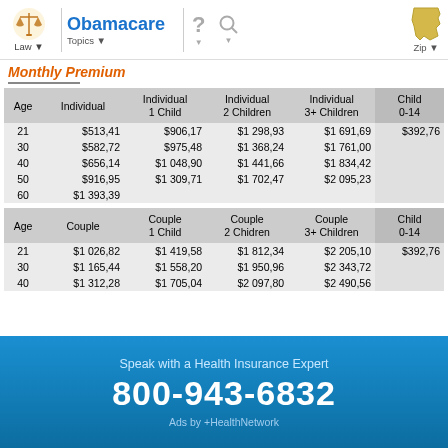Obamacare - Law - Topics - Zip
Monthly Premium
| Age | Individual | Individual
1 Child | Individual
2 Children | Individual
3+ Children | Child
0-14 |
| --- | --- | --- | --- | --- | --- |
| 21 | $513,41 | $906,17 | $1 298,93 | $1 691,69 | $392,76 |
| 30 | $582,72 | $975,48 | $1 368,24 | $1 761,00 |  |
| 40 | $656,14 | $1 048,90 | $1 441,66 | $1 834,42 |  |
| 50 | $916,95 | $1 309,71 | $1 702,47 | $2 095,23 |  |
| 60 | $1 393,39 |  |  |  |  |
| Age | Couple | Couple
1 Child | Couple
2 Chidren | Couple
3+ Children | Child
0-14 |
| --- | --- | --- | --- | --- | --- |
| 21 | $1 026,82 | $1 419,58 | $1 812,34 | $2 205,10 | $392,76 |
| 30 | $1 165,44 | $1 558,20 | $1 950,96 | $2 343,72 |  |
| 40 | $1 312,28 | $1 705,04 | $2 097,80 | $2 490,56 |  |
Speak with a Health Insurance Expert
800-943-6832
Ads by +HealthNetwork